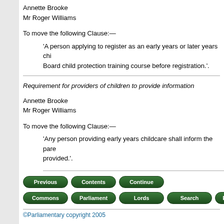Annette Brooke
Mr Roger Williams
To move the following Clause:—
'A person applying to register as an early years or later years chi... Board child protection training course before registration.'.
Requirement for providers of children to provide information
Annette Brooke
Mr Roger Williams
To move the following Clause:—
'Any person providing early years childcare shall inform the pare... provided.'.
©Parliamentary copyright 2005